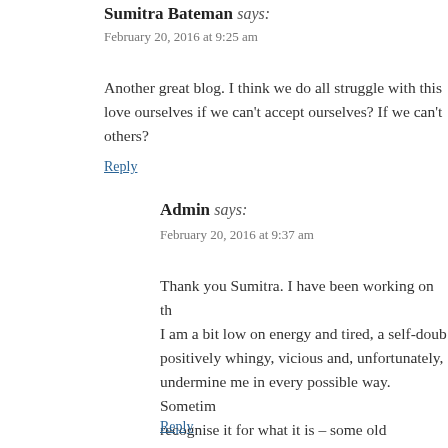Sumitra Bateman says:
February 20, 2016 at 9:25 am
Another great blog. I think we do all struggle with this love ourselves if we can't accept ourselves? If we can't others?
Reply
Admin says:
February 20, 2016 at 9:37 am
Thank you Sumitra. I have been working on th I am a bit low on energy and tired, a self-doub positively whingy, vicious and, unfortunately, undermine me in every possible way. Sometim recognise it for what it is – some old recording stop that!'
Reply